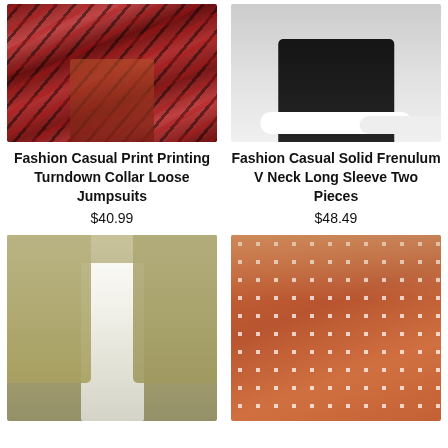[Figure (photo): Fashion photo of tiger print wide-leg pants worn by a person standing on a porch area with plants in background]
Fashion Casual Print Printing Turndown Collar Loose Jumpsuits
$40.99
[Figure (photo): Fashion photo showing black jogger pants with white sneakers on a white tile floor]
Fashion Casual Solid Frenulum V Neck Long Sleeve Two Pieces
$48.49
[Figure (photo): Fashion photo of woman wearing a khaki/olive button-up shacket jacket with white shirt underneath and jeans, carrying a brown bag]
[Figure (photo): Fashion photo of woman wearing a rust/terracotta polka dot dress with V-neck and long sleeves]